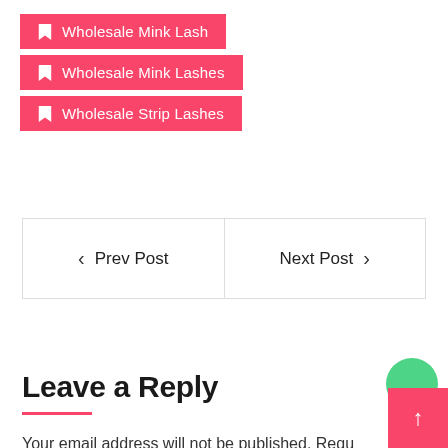Wholesale Mink Lash
Wholesale Mink Lashes
Wholesale Strip Lashes
| < Prev Post | Next Post > |
Leave a Reply
Your email address will not be published. Required fields are marked *